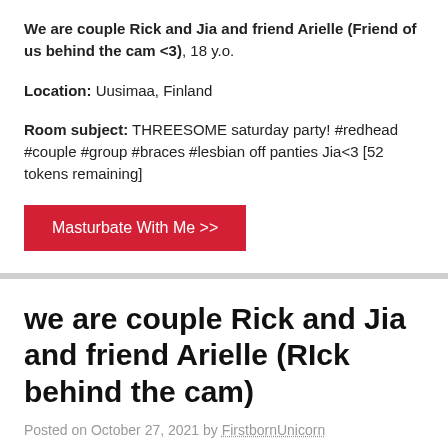We are couple Rick and Jia and friend Arielle (Friend of us behind the cam <3), 18 y.o.
Location: Uusimaa, Finland
Room subject: THREESOME saturday party! #redhead #couple #group #braces #lesbian off panties Jia<3 [52 tokens remaining]
Masturbate With Me >>
we are couple Rick and Jia and friend Arielle (RIck behind the cam)
Posted on October 27, 2021 by FirstbornUnicorn